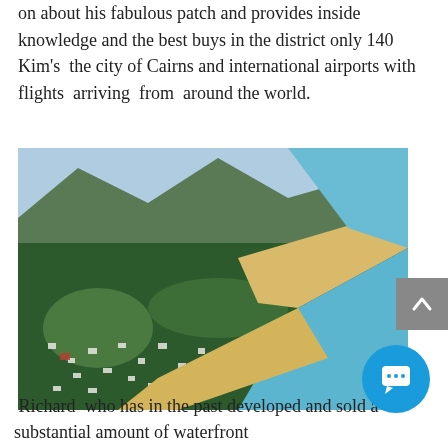on about his fabulous patch and provides inside knowledge and the best buys in the district only 140 Kim's the city of Cairns and international airports with flights arriving from around the world.
[Figure (photo): Aerial photograph of a coastal town with a long sandy beach, turquoise water, lush green forest and mountains in the background, likely near Cairns, Queensland, Australia.]
Richard who has in the past developed and sold a substantial amount of waterfront